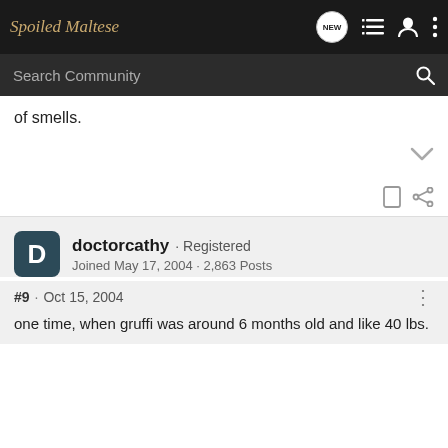Spoiled Maltese
Search Community
of smells.
#9 · Oct 15, 2004
doctorcathy · Registered
Joined May 17, 2004 · 2,863 Posts
one time, when gruffi was around 6 months old and like 40 lbs.